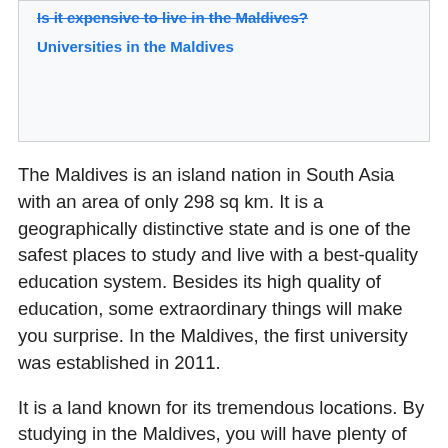Is it expensive to live in the Maldives?
Universities in the Maldives
The Maldives is an island nation in South Asia with an area of only 298 sq km. It is a geographically distinctive state and is one of the safest places to study and live with a best-quality education system. Besides its high quality of education, some extraordinary things will make you surprise. In the Maldives, the first university was established in 2011.
It is a land known for its tremendous locations. By studying in the Maldives, you will have plenty of fascinating natural spots to explore, and you will get familiar with different cultures as it is a blend of multiple cultures. Maldivian Rufiyaa is the official currency of Maldives. If you want to study in the Maldives, you need to apply for a Maldives